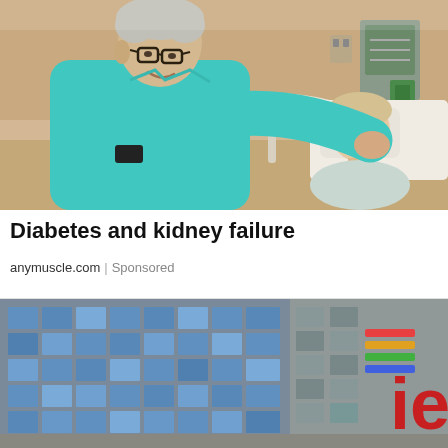[Figure (photo): An elderly man in a teal shirt leaning over a hospital bed, touching the face of an elderly woman lying in the bed. Hospital room background with medical equipment.]
Diabetes and kidney failure
anymuscle.com | Sponsored
[Figure (photo): Exterior of a large commercial building with glass windows and a partial view of a red logo with letters 'ies' visible on the right side.]